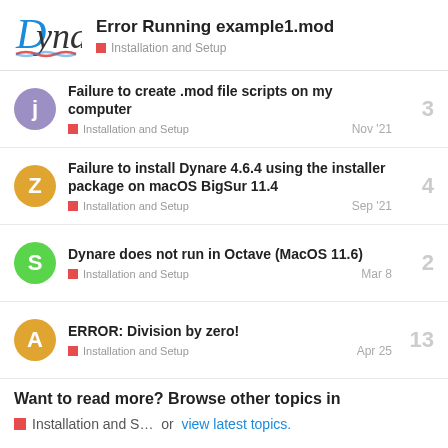Error Running example1.mod — Installation and Setup
Failure to create .mod file scripts on my computer | Installation and Setup | Nov '21 | 3 replies
Failure to install Dynare 4.6.4 using the installer package on macOS BigSur 11.4 | Installation and Setup | Sep '21 | 4 replies
Dynare does not run in Octave (MacOS 11.6) | Installation and Setup | Mar 8 | 2 replies
ERROR: Division by zero! | Installation and Setup | Apr 25 | 13 replies
Want to read more? Browse other topics in Installation and S... or view latest topics.